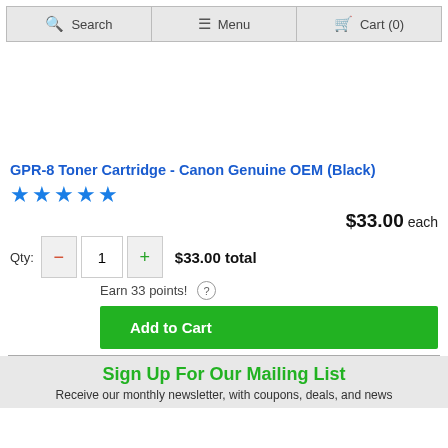Search | Menu | Cart (0)
GPR-8 Toner Cartridge - Canon Genuine OEM (Black)
★★★★★
$33.00 each
Qty: — 1 + $33.00 total
Earn 33 points!
Add to Cart
Sign Up For Our Mailing List
Receive our monthly newsletter, with coupons, deals, and news